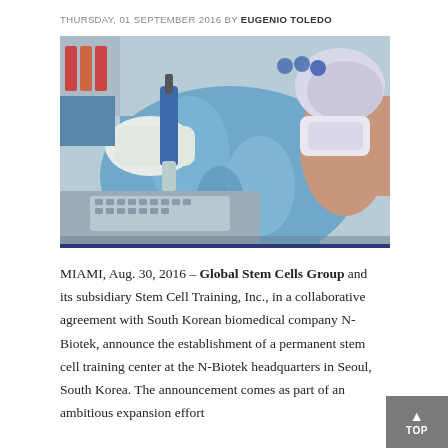THURSDAY, 01 SEPTEMBER 2016 BY EUGENIO TOLEDO
[Figure (photo): Lab technician in blue gown, mask, and hair net using a pipette over laboratory materials and keyboard]
MIAMI, Aug. 30, 2016 – Global Stem Cells Group and its subsidiary Stem Cell Training, Inc., in a collaborative agreement with South Korean biomedical company N-Biotek, announce the establishment of a permanent stem cell training center at the N-Biotek headquarters in Seoul, South Korea. The announcement comes as part of an ambitious expansion effort